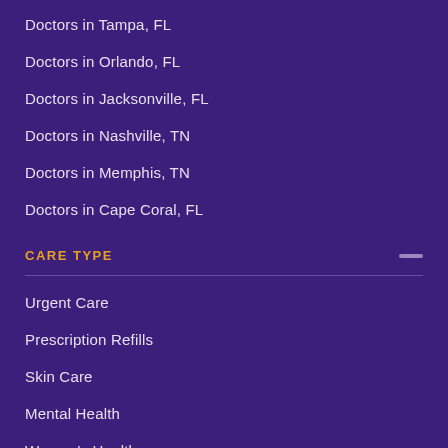Doctors in Tampa, FL
Doctors in Orlando, FL
Doctors in Jacksonville, FL
Doctors in Nashville, TN
Doctors in Memphis, TN
Doctors in Cape Coral, FL
CARE TYPE
Urgent Care
Prescription Refills
Skin Care
Mental Health
Women's Health
Men's Health